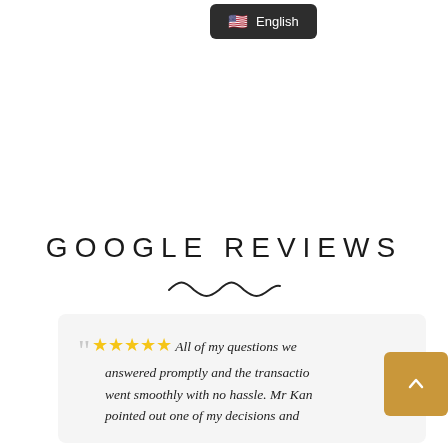[Figure (screenshot): Language selector button showing US flag emoji and 'English' text on a dark background]
GOOGLE REVIEWS
[Figure (illustration): Decorative squiggly line divider]
"★★★★★ All of my questions were answered promptly and the transaction went smoothly with no hassle. Mr Kang pointed out one of my decisions and
[Figure (illustration): Gold scroll-to-top button with upward chevron arrow]